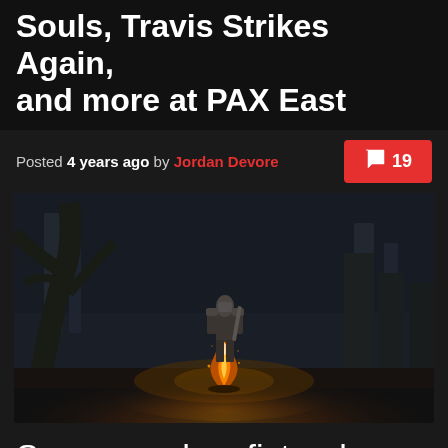Souls, Travis Strikes Again, and more at PAX East
Posted 4 years ago by Jordan Devore  [comment icon] 19
[Figure (screenshot): Dark Souls game screenshot showing an armored character standing in a dark, ruined environment with a lit bonfire at their feet, surrounded by twisted trees and stone ruins in a gloomy night setting.]
Someone do a fist-only run of Dark Souls for me